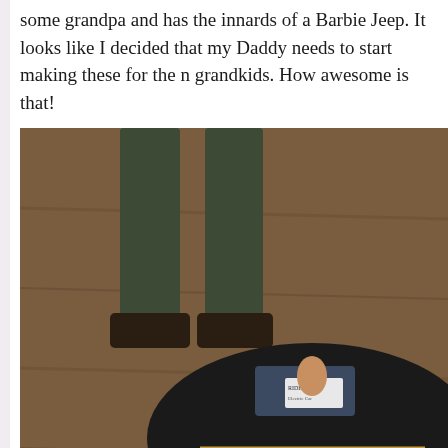some grandpa and has the innards of a Barbie Jeep. It looks like I decided that my Daddy needs to start making these for the grandkids. How awesome is that!
[Figure (photo): Overhead/angled view of a vintage-style black miniature pedal car or electric toy car on a wood floor, with a person's legs visible standing behind it and a trophy or tall object in the background.]
I'll definitely be back to Sedler's and Canal Street Antiques. N comes into town, we'll have to hit those up.
Another interesting place we ran into was Paul Martin Whol closed when we drove by but it looked like a goldmine of awe and see if I can find its hours. I'd definitely like to check that p Until next time!